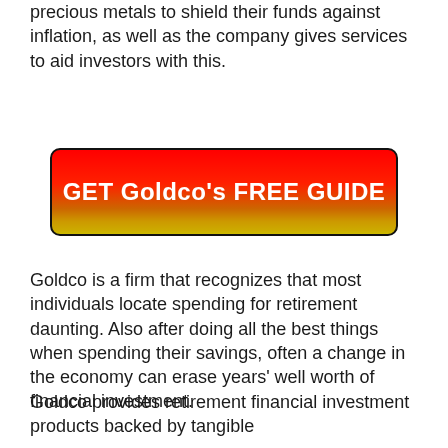More people are looking to purchase precious metals to shield their funds against inflation, as well as the company gives services to aid investors with this.
[Figure (other): Red to yellow gradient call-to-action button with text 'GET Goldco's FREE GUIDE' in bold white letters on a red-to-gold gradient background with rounded corners and dark border.]
Goldco is a firm that recognizes that most individuals locate spending for retirement daunting. Also after doing all the best things when spending their savings, often a change in the economy can erase years' well worth of financial investment.
Goldco provides retirement financial investment products backed by tangible